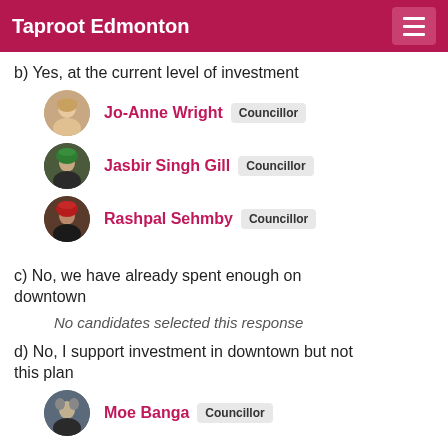Taproot Edmonton
b) Yes, at the current level of investment
Jo-Anne Wright  Councillor
Jasbir Singh Gill  Councillor
Rashpal Sehmby  Councillor
c) No, we have already spent enough on downtown
No candidates selected this response
d) No, I support investment in downtown but not this plan
Moe Banga  Councillor